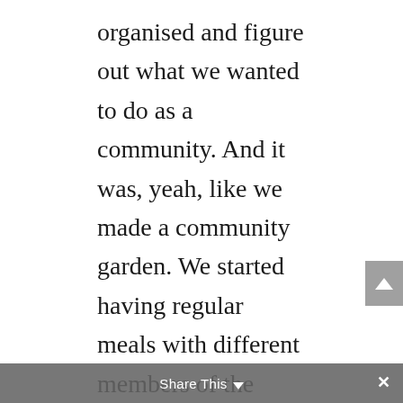organised and figure out what we wanted to do as a community. And it was, yeah, like we made a community garden. We started having regular meals with different members of the community bringing their like cultures, cuisine and us all cooking together. Like it was so powerful and great. And in some ways it’s like, Well, where does that go? Like, how does that become part of a bigger picture? Is that how we do it? With like lots of small jigsaw pieces of communities that are kind of working together and then have some sort of an alignment towards a bigger goal of what
Share This